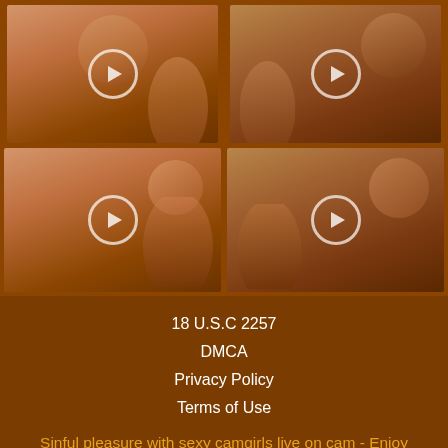[Figure (photo): Two rows of thumbnail images of women on a brown/orange background with play icons]
18 U.S.C 2257
DMCA
Privacy Policy
Terms of Use
Sinful pleasure with sexy camgirls live on cam - Enjoy Livecam shows with Sexy Gays - Nude-Camgirls is where women go when they're horny and want to be told how